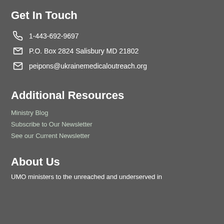Get In Touch
1-443-692-9697
P.O. Box 2824 Salisbury MD 21802
peipons@ukrainemedicaloutreach.org
Additional Resources
Ministry Blog
Subscribe to Our Newsletter
See our Current Newsletter
About Us
UMO ministers to the unreached and underserved in